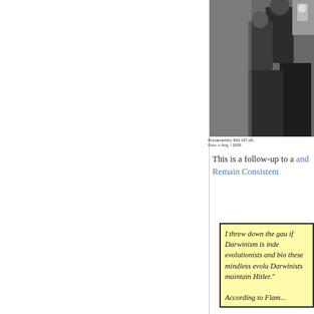[Figure (photo): Black and white photograph showing people, partially cropped at the right edge of the page]
Bundesarchiv, Bild 147-d0... / Foto: n.Ang. / 1939
This is a follow-up to a and Remain Consistent
I threw down the gau if Darwinism is inde evolutionists and bio these mindless evolu Darwinists maintain Hitler."
According to Flam...